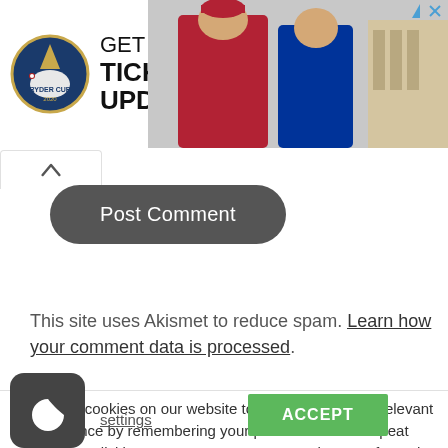[Figure (photo): Ryder Cup advertisement banner with logo on left showing 'GET TICKET UPDATES' text and two golf players wearing USA and European team gear on the right, with a close/skip button (triangle and X) in top right corner]
[Figure (screenshot): Scroll-up arrow indicator / collapsed text field area]
Post Comment
This site uses Akismet to reduce spam. Learn how your comment data is processed.
We use cookies on our website to give you the most relevant experience by remembering your preferences and repeat visits. By clicking "Accept", you consent to the use of ALL the cookies.
[Figure (logo): Dark rounded square icon with white crescent moon symbol (cookie/dark mode settings icon)]
settings
ACCEPT